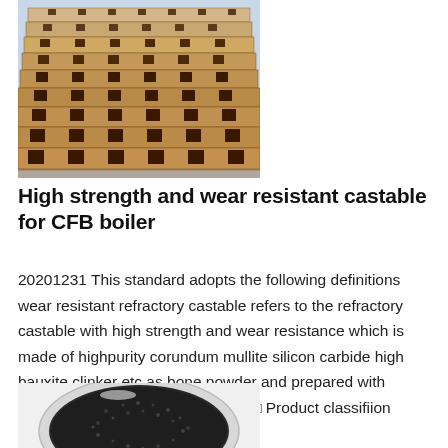[Figure (photo): Stack of light-colored refractory brick blocks with slots cut into them, piled in rows]
High strength and wear resistant castable for CFB boiler
20201231 This standard adopts the following definitions wear resistant refractory castable refers to the refractory castable with high strength and wear resistance which is made of highpurity corundum mullite silicon carbide high bauxite clinker etc as bone powder and prepared with different binders and admixtures 4□ Product classifiion
[Figure (photo): Dark granular material (silicon carbide or similar refractory aggregate) shown in a round white dish/bowl, viewed from above]